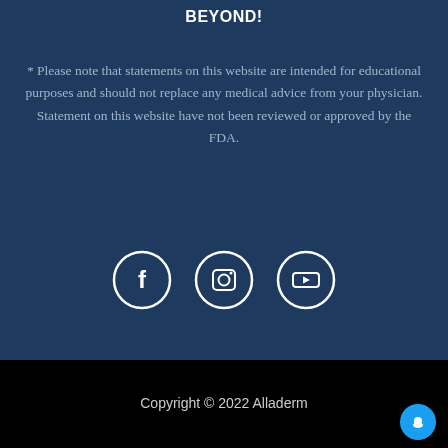BEYOND!
* Please note that statements on this website are intended for educational purposes and should not replace any medical advice from your physician. Statement on this website have not been reviewed or approved by the FDA.
[Figure (illustration): Three social media icon circles in white outline on dark blue background: Facebook (f), Instagram (camera), YouTube (play button)]
Copyright © 2022 Alladerm